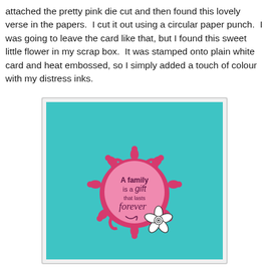attached the pretty pink die cut and then found this lovely verse in the papers.  I cut it out using a circular paper punch.  I was going to leave the card like that, but I found this sweet little flower in my scrap box.  It was stamped onto plain white card and heat embossed, so I simply added a touch of colour with my distress inks.
[Figure (photo): A handmade greeting card on a teal/turquoise background. In the center is a decorative pink die-cut circular frame with ornate snowflake-like edges. Inside the frame is a pink circle with stamped text reading 'A family is a gift that lasts forever'. A small white flower embellishment with black stamped details sits at the bottom right of the die cut.]